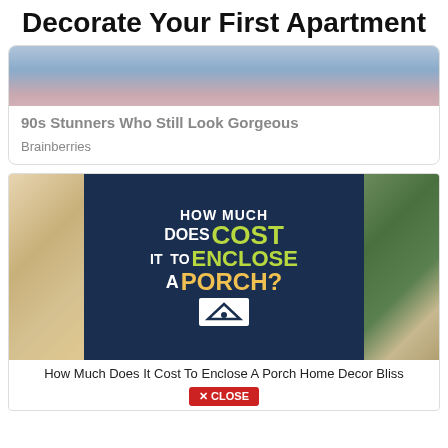Decorate Your First Apartment
[Figure (photo): Partial photo of a person's face/head from a Brainberries ad]
90s Stunners Who Still Look Gorgeous
Brainberries
[Figure (photo): Promotional image for 'How Much Does It Cost To Enclose A Porch?' showing text on dark blue background with porch furniture on sides]
How Much Does It Cost To Enclose A Porch Home Decor Bliss
✕ CLOSE